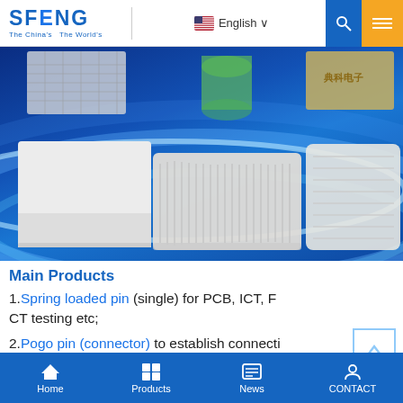SFENG - The China's The World's | English | Search | Menu
[Figure (photo): Product photo showing pogo pins and spring loaded pins packaging on a blue glowing background. Items include a white rectangular box, a bundle of silver pins, and a plastic-wrapped pin tray, plus other electronic components in background.]
Main Products
1.Spring loaded pin (single) for PCB, ICT, FCT testing etc;
2.Pogo pin (connector) to establish connection between two printed circuit boards for ch
Home | Products | News | CONTACT